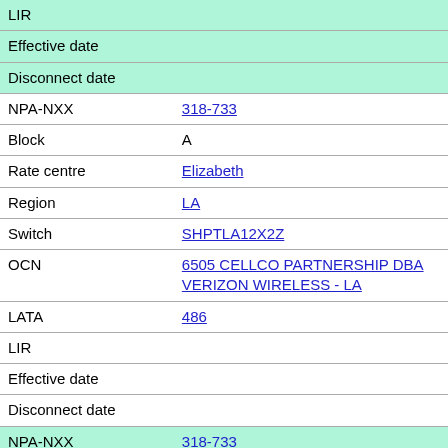| Field | Value |
| --- | --- |
| LIR |  |
| Effective date |  |
| Disconnect date |  |
| NPA-NXX | 318-733 |
| Block | A |
| Rate centre | Elizabeth |
| Region | LA |
| Switch | SHPTLA12X2Z |
| OCN | 6505 CELLCO PARTNERSHIP DBA VERIZON WIRELESS - LA |
| LATA | 486 |
| LIR |  |
| Effective date |  |
| Disconnect date |  |
| NPA-NXX | 318-733 |
| Block | 0 |
| Rate centre | Elizabeth |
| Region | LA |
| Switch | SHPTLA12X2Z |
| OCN | 6505 CELLCO PARTNERSHIP DBA VERIZON WIRELESS - LA |
| LATA | 486 |